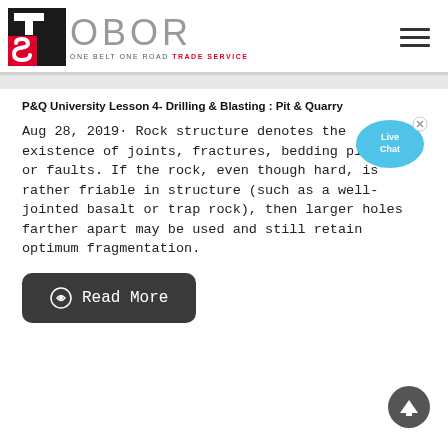[Figure (logo): OBOR One Belt One Road Trade Service logo with red and black TS emblem on the left and gray OBOR text with tagline on the right]
P&Q University Lesson 4- Drilling & Blasting : Pit & Quarry
Aug 28, 2019· Rock structure denotes the existence of joints, fractures, bedding planes, or faults. If the rock, even though hard, is rather friable in structure (such as a well-jointed basalt or trap rock), then larger holes farther apart may be used and still retain optimum fragmentation.
Read More